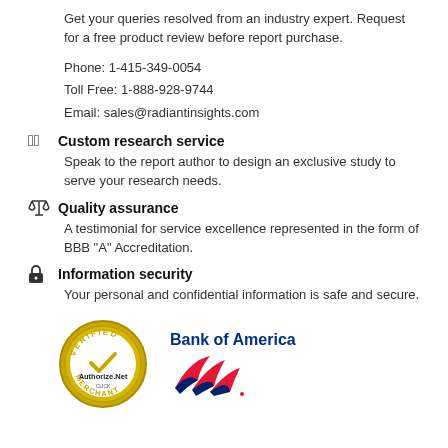Get your queries resolved from an industry expert. Request for a free product review before report purchase.
Phone: 1-415-349-0054
Toll Free: 1-888-928-9744
Email: sales@radiantinsights.com
Custom research service
Speak to the report author to design an exclusive study to serve your research needs.
Quality assurance
A testimonial for service excellence represented in the form of BBB "A" Accreditation.
Information security
Your personal and confidential information is safe and secure.
[Figure (logo): Authorize.Net Verified Merchant seal and Bank of America logo with red and blue stripe icon]